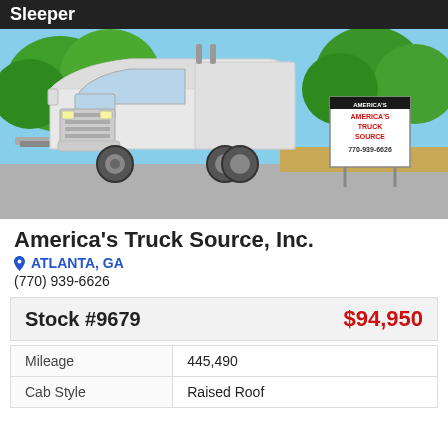Sleeper
[Figure (photo): White Kenworth semi-truck sleeper cab parked in a lot at America's Truck Source dealership in Atlanta, GA. Trees visible in background, dealership sign showing 770-939-6626.]
America's Truck Source, Inc.
ATLANTA, GA
(770) 939-6626
| Stock #9679 | $94,950 |
| Mileage | 445,490 |
| Cab Style | Raised Roof |